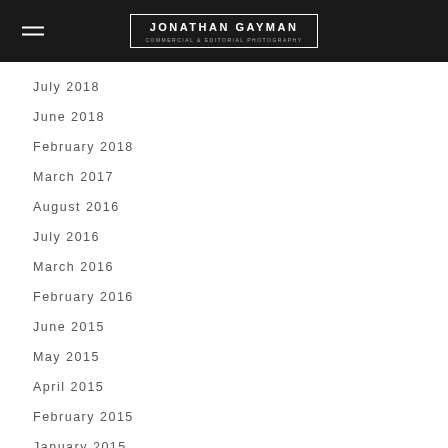JONATHAN GAYMAN — Commercial & Editorial Photography
July 2018
June 2018
February 2018
March 2017
August 2016
July 2016
March 2016
February 2016
June 2015
May 2015
April 2015
February 2015
January 2015